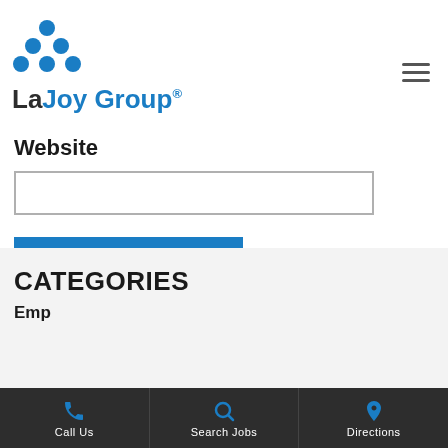[Figure (logo): LaJoy Group logo with blue circular dot icon above text 'LaJoy Group' with registered trademark symbol]
Website
[Figure (other): Text input field for website URL]
[Figure (other): POST COMMENT button in blue]
CATEGORIES
Employers
Call Us | Search Jobs | Directions